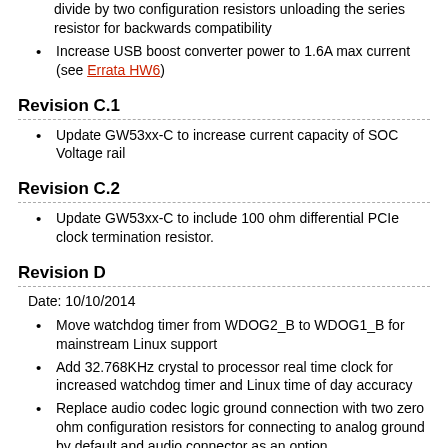divide by two configuration resistors unloading the series resistor for backwards compatibility
Increase USB boost converter power to 1.6A max current (see Errata HW6)
Revision C.1
Update GW53xx-C to increase current capacity of SOC Voltage rail
Revision C.2
Update GW53xx-C to include 100 ohm differential PCIe clock termination resistor.
Revision D
Date: 10/10/2014
Move watchdog timer from WDOG2_B to WDOG1_B for mainstream Linux support
Add 32.768KHz crystal to processor real time clock for increased watchdog timer and Linux time of day accuracy
Replace audio codec logic ground connection with two zero ohm configuration resistors for connecting to analog ground by default and audio connector as an option
Add option to bypass CAN bus transceiver to provide additional TTL UARt
Add option to bypass RS232 transceiver